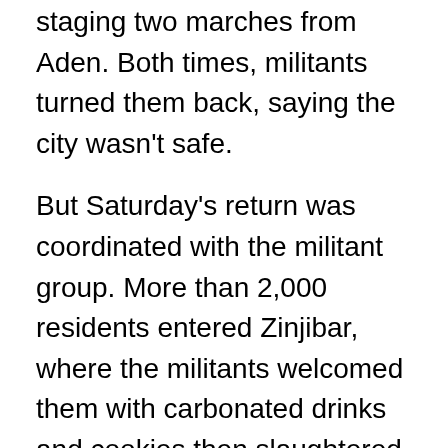staging two marches from Aden. Both times, militants turned them back, saying the city wasn't safe.
But Saturday's return was coordinated with the militant group. More than 2,000 residents entered Zinjibar, where the militants welcomed them with carbonated drinks and cookies then slaughtered cows for dinner, said resident Abdel-Hakim al-Marqashi.
Before dinner, however, all gathered in the city center for an address by a man called "Abu Hamza," who was introduced as the prince of what the militants declared a new Islamic state.
Al-Marqashi said Abu Hamza told the crowd that they were now "safe and secure," and that the leaders of